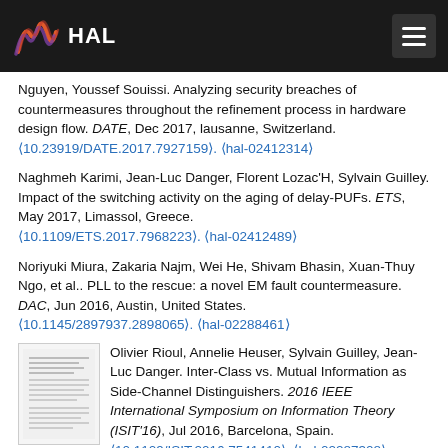HAL
Nguyen, Youssef Souissi. Analyzing security breaches of countermeasures throughout the refinement process in hardware design flow. DATE, Dec 2017, lausanne, Switzerland. ⟨10.23919/DATE.2017.7927159⟩. ⟨hal-02412314⟩
Naghmeh Karimi, Jean-Luc Danger, Florent Lozac'H, Sylvain Guilley. Impact of the switching activity on the aging of delay-PUFs. ETS, May 2017, Limassol, Greece. ⟨10.1109/ETS.2017.7968223⟩. ⟨hal-02412489⟩
Noriyuki Miura, Zakaria Najm, Wei He, Shivam Bhasin, Xuan-Thuy Ngo, et al.. PLL to the rescue: a novel EM fault countermeasure. DAC, Jun 2016, Austin, United States. ⟨10.1145/2897937.2898065⟩. ⟨hal-02288461⟩
[Figure (other): Thumbnail image of a paper document]
Olivier Rioul, Annelie Heuser, Sylvain Guilley, Jean-Luc Danger. Inter-Class vs. Mutual Information as Side-Channel Distinguishers. 2016 IEEE International Symposium on Information Theory (ISIT'16), Jul 2016, Barcelona, Spain. ⟨10.1109/ISIT.2016.7541410⟩. ⟨hal-02287308⟩